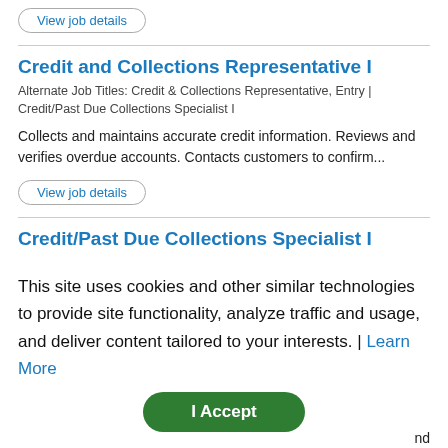View job details
Credit and Collections Representative I
Alternate Job Titles: Credit & Collections Representative, Entry | Credit/Past Due Collections Specialist I
Collects and maintains accurate credit information. Reviews and verifies overdue accounts. Contacts customers to confirm...
View job details
Credit/Past Due Collections Specialist I
Alternate Job Titles: Credit and Collections Representative I | Credit & Collections Representative, Entry
Collects and maintains accurate credit information. Reviews and
This site uses cookies and other similar technologies to provide site functionality, analyze traffic and usage, and deliver content tailored to your interests. | Learn More
I Accept